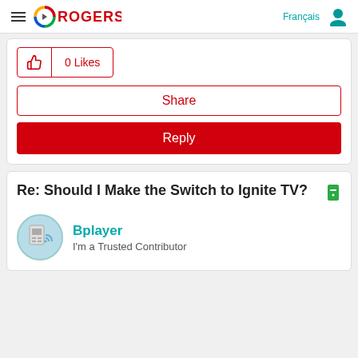Rogers — Français
0 Likes
Share
Reply
Re: Should I Make the Switch to Ignite TV?
Bplayer
I'm a Trusted Contributor